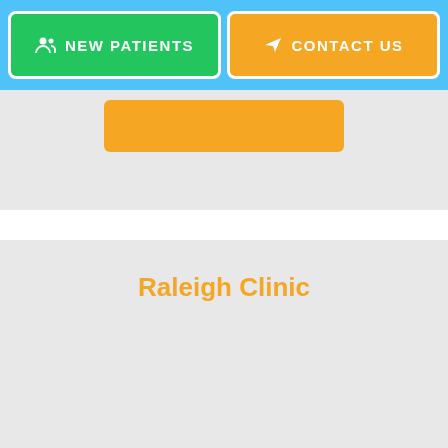[Figure (screenshot): Navigation bar with two buttons: 'NEW PATIENTS' (green) and 'CONTACT US' (orange), on a light blue background]
[Figure (screenshot): Orange rectangular button strip at the top of a light gray section]
Raleigh Clinic